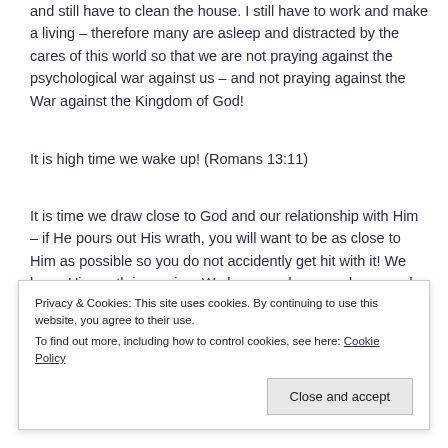and still have to clean the house. I still have to work and make a living – therefore many are asleep and distracted by the cares of this world so that we are not praying against the psychological war against us – and not praying against the War against the Kingdom of God!
It is high time we wake up! (Romans 13:11)
It is time we draw close to God and our relationship with Him – if He pours out His wrath, you will want to be as close to Him as possible so you do not accidently get hit with it! We know His wrath is coming. We have read over and over and over again in the Old Testament – so we know His
Privacy & Cookies: This site uses cookies. By continuing to use this website, you agree to their use.
To find out more, including how to control cookies, see here: Cookie Policy